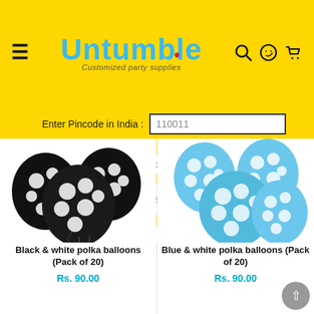[Figure (screenshot): Untumble website header with logo, hamburger menu, search, WhatsApp and cart icons on yellow background]
Enter Pincode in India : 110011
OR
Select Country : International destination
Apply
Cancel
[Figure (photo): Black and white polka dot balloons bunch, Pack of 20]
Black & white polka balloons (Pack of 20)
Rs. 90.00
[Figure (photo): Blue and white polka dot balloons bunch, Pack of 20]
Blue & white polka balloons (Pack of 20)
Rs. 90.00